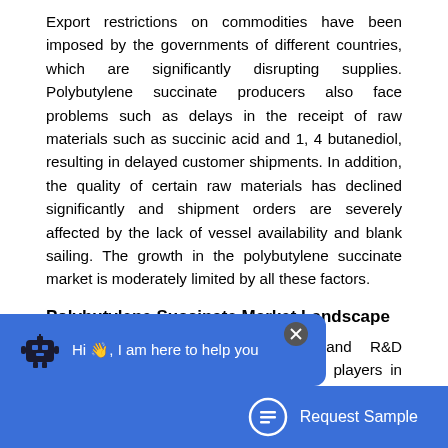Export restrictions on commodities have been imposed by the governments of different countries, which are significantly disrupting supplies. Polybutylene succinate producers also face problems such as delays in the receipt of raw materials such as succinic acid and 1, 4 butanediol, resulting in delayed customer shipments. In addition, the quality of certain raw materials has declined significantly and shipment orders are severely affected by the lack of vessel availability and blank sailing. The growth in the polybutylene succinate market is moderately limited by all these factors.
Polybutylene Succinate Market Landscape
Technology launches, acquisitions, and R&D activities are key strategies adopted by players in the polybutylene succinate market. In 2020, the market of polybutylene